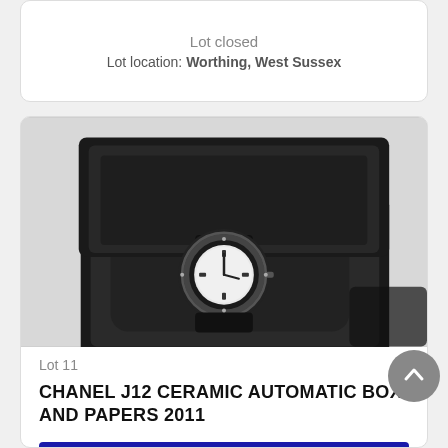Lot closed
Lot location: Worthing, West Sussex
[Figure (photo): A Chanel J12 ceramic automatic watch displayed in an open black presentation box on a light background]
Lot 11
CHANEL J12 CERAMIC AUTOMATIC BOX AND PAPERS 2011
VIEW
Lot closed
Lot location: Worthing, West Sussex